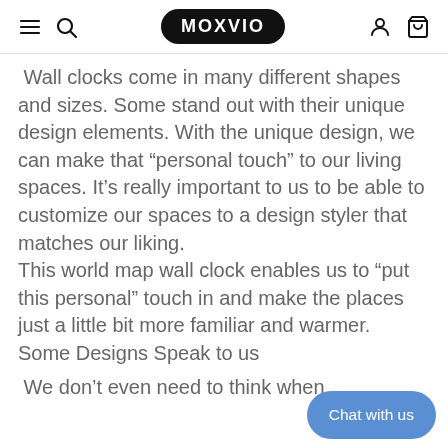MOXVIO
Wall clocks come in many different shapes and sizes. Some stand out with their unique design elements. With the unique design, we can make that “personal touch” to our living spaces. It’s really important to us to be able to customize our spaces to a design styler that matches our liking. This world map wall clock enables us to “put this personal” touch in and make the places just a little bit more familiar and warmer.
Some Designs Speak to us
 We don’t even need to think when